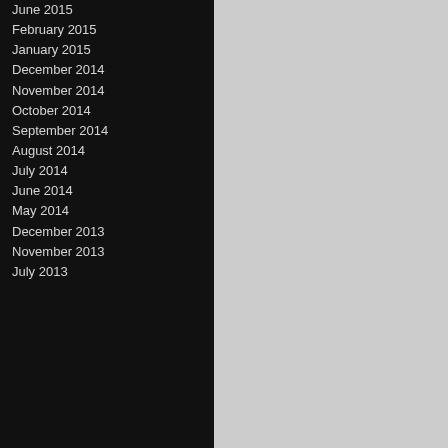June 2015
February 2015
January 2015
December 2014
November 2014
October 2014
September 2014
August 2014
July 2014
June 2014
May 2014
December 2013
November 2013
July 2013